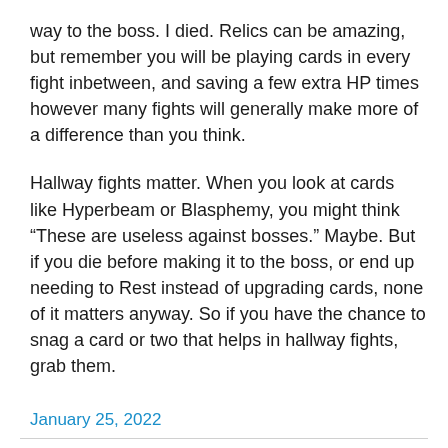way to the boss. I died. Relics can be amazing, but remember you will be playing cards in every fight inbetween, and saving a few extra HP times however many fights will generally make more of a difference than you think.
Hallway fights matter. When you look at cards like Hyperbeam or Blasphemy, you might think “These are useless against bosses.” Maybe. But if you die before making it to the boss, or end up needing to Rest instead of upgrading cards, none of it matters anyway. So if you have the chance to snag a card or two that helps in hallway fights, grab them.
January 25, 2022